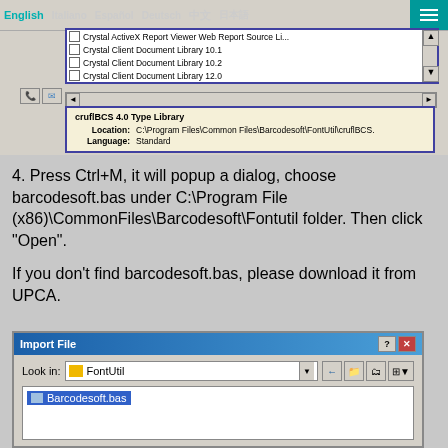[Figure (screenshot): Screenshot of a Windows dialog showing Crystal components list and cruflBCS 4.0 Type Library info box with Location and Language fields]
4. Press Ctrl+M, it will popup a dialog, choose barcodesoft.bas under C:\Program File (x86)\CommonFiles\Barcodesoft\Fontutil folder. Then click "Open".
If you don't find barcodesoft.bas, please download it from UPCA.
[Figure (screenshot): Import File dialog showing FontUtil folder with Barcodesoft.bas file listed]